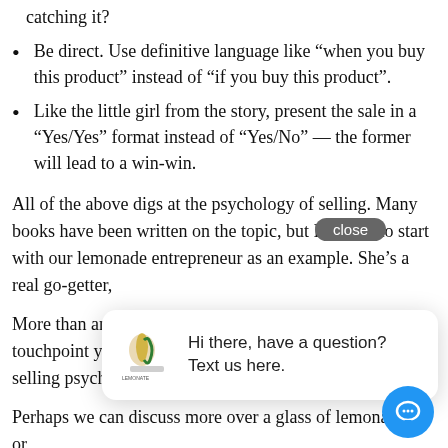catching it?
Be direct. Use definitive language like “when you buy this product” instead of “if you buy this product”.
Like the little girl from the story, present the sale in a “Yes/Yes” format instead of “Yes/No” — the former will lead to a win-win.
All of the above digs at the psychology of selling. Many books have been written on the topic, but I encourage you to start with our lemonade entrepreneur as an example. She’s a real go-getter,
More than any kind in every interaction and on every touchpoint your offering will help. Have any other tips on selling psychology? Please reach out and let me know!
Perhaps we can discuss more over a glass of lemonade … or